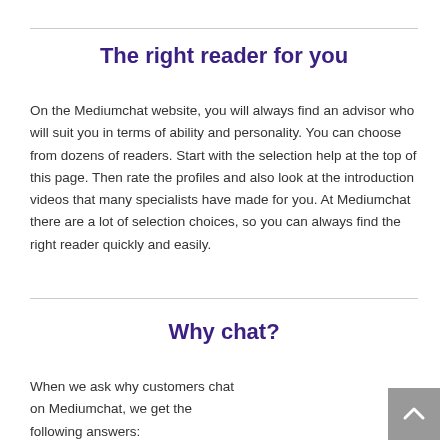The right reader for you
On the Mediumchat website, you will always find an advisor who will suit you in terms of ability and personality. You can choose from dozens of readers. Start with the selection help at the top of this page. Then rate the profiles and also look at the introduction videos that many specialists have made for you. At Mediumchat there are a lot of selection choices, so you can always find the right reader quickly and easily.
Why chat?
When we ask why customers chat on Mediumchat, we get the following answers: